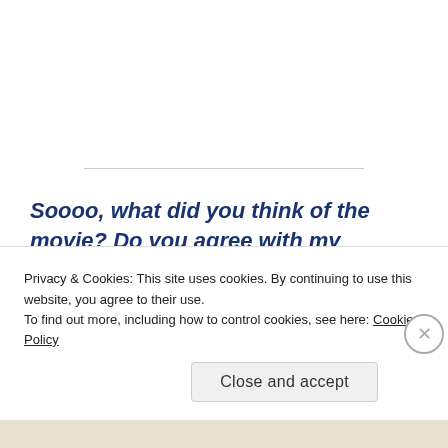Soooo, what did you think of the movie? Do you agree with my assessment? Feel free to discuss about the spoilery stuff but please state a
Privacy & Cookies: This site uses cookies. By continuing to use this website, you agree to their use.
To find out more, including how to control cookies, see here: Cookie Policy
Close and accept